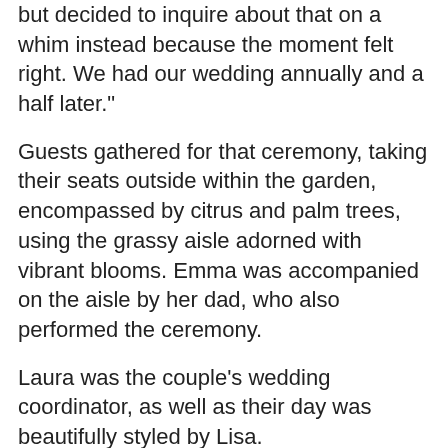but decided to inquire about that on a whim instead because the moment felt right. We had our wedding annually and a half later."
Guests gathered for that ceremony, taking their seats outside within the garden, encompassed by citrus and palm trees, using the grassy aisle adorned with vibrant blooms. Emma was accompanied on the aisle by her dad, who also performed the ceremony.
Laura was the couple's wedding coordinator, as well as their day was beautifully styled by Lisa.
"We knew we desired to keep it relaxed and intimate but possess the most fun we'd ever endured. Straddling the road somewhere between pared-back and straightforward, and real Spanish fiesta. Lisa understood what we desired to do visually and that we were amazed by how everything looked around the day."
Family and friends took their seats as Emma and Ben made their joyful arrival with the archway from the Finca, to consider their place amongst them for lunch.